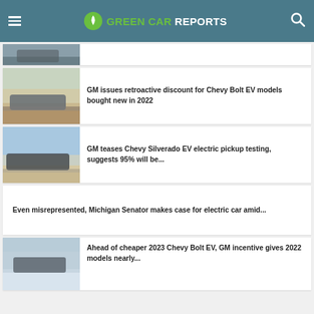Green Car Reports
[Figure (photo): Partial article card at top — car thumbnail partially visible]
GM issues retroactive discount for Chevy Bolt EV models bought new in 2022
GM teases Chevy Silverado EV electric pickup testing, suggests 95% will be...
Even misrepresented, Michigan Senator makes case for electric car amid...
Ahead of cheaper 2023 Chevy Bolt EV, GM incentive gives 2022 models nearly...